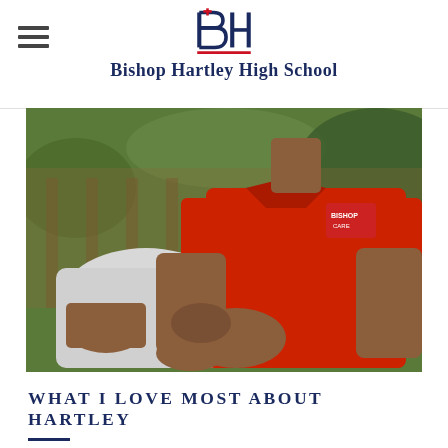Bishop Hartley High School
[Figure (photo): Close-up photo of a student wearing a red Bishop Hartley polo shirt, sitting outdoors with hands clasped around their knee]
WHAT I LOVE MOST ABOUT HARTLEY